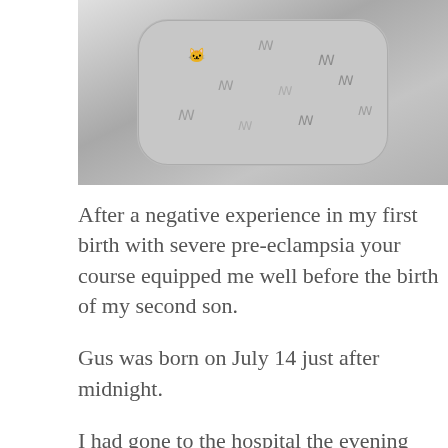[Figure (photo): Black and white photograph of a baby wearing a patterned onesie, lying down, viewed from above.]
After a negative experience in my first birth with severe pre-eclampsia your course equipped me well before the birth of my second son.
Gus was born on July 14 just after midnight.
I had gone to the hospital the evening before to prep for an induction as my BP was starting to fluctuate and i was 10 days past my guess date. My doctor was very